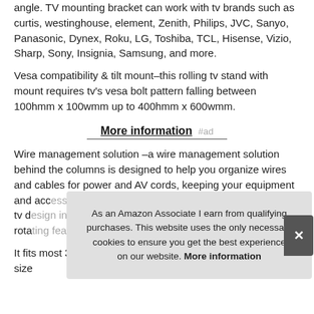angle. TV mounting bracket can work with tv brands such as curtis, westinghouse, element, Zenith, Philips, JVC, Sanyo, Panasonic, Dynex, Roku, LG, Toshiba, TCL, Hisense, Vizio, Sharp, Sony, Insignia, Samsung, and more.
Vesa compatibility & tilt mount–this rolling tv stand with mount requires tv's vesa bolt pattern falling between 100hmm x 100wmm up to 400hmm x 600wmm.
More information #ad
Wire management solution –a wire management solution behind the columns is designed to help you organize wires and cables for power and AV cords, keeping your equipment and acc... tv d... rota...
As an Amazon Associate I earn from qualifying purchases. This website uses the only necessary cookies to ensure you get the best experience on our website. More information
It fits most 37 40 42 43 47 50 55 60 65 70 75 inches led lcd...